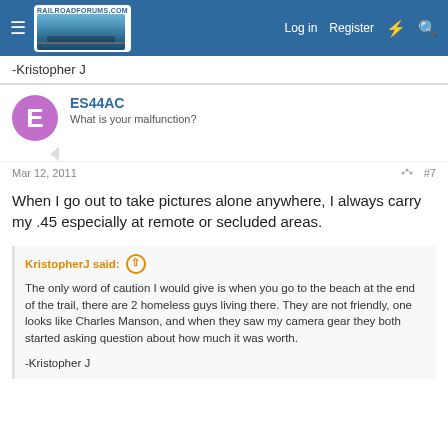RailroadForums.com — Log in | Register
-Kristopher J
ES44AC
What is your malfunction?
Mar 12, 2011  #7
When I go out to take pictures alone anywhere, I always carry my .45 especially at remote or secluded areas.
KristopherJ said: The only word of caution I would give is when you go to the beach at the end of the trail, there are 2 homeless guys living there. They are not friendly, one looks like Charles Manson, and when they saw my camera gear they both started asking question about how much it was worth.

-Kristopher J